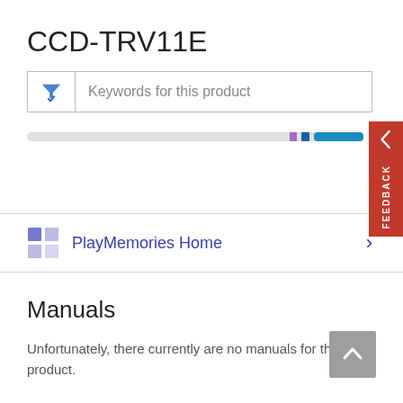CCD-TRV11E
[Figure (screenshot): Search/filter input box with funnel icon and placeholder text 'Keywords for this product']
[Figure (screenshot): Scrollbar navigation area with blue highlight controls and red back arrow and feedback tab on right side]
PlayMemories Home
Manuals
Unfortunately, there currently are no manuals for this product.